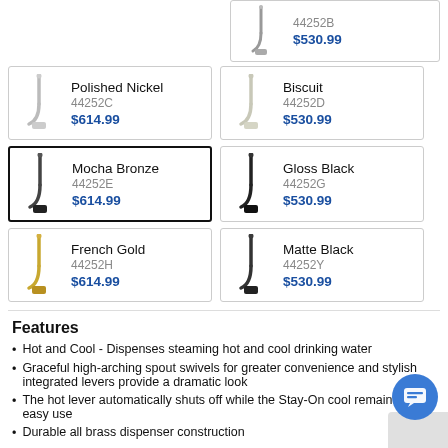[Figure (other): Partial product card top-right showing faucet image, SKU 44252B, price $530.99]
[Figure (other): Polished Nickel faucet product card, SKU 44252C, $614.99]
[Figure (other): Biscuit faucet product card, SKU 44252D, $530.99]
[Figure (other): Mocha Bronze faucet product card (selected/highlighted), SKU 44252E, $614.99]
[Figure (other): Gloss Black faucet product card, SKU 44252G, $530.99]
[Figure (other): French Gold faucet product card, SKU 44252H, $614.99]
[Figure (other): Matte Black faucet product card, SKU 44252Y, $530.99]
Features
Hot and Cool - Dispenses steaming hot and cool drinking water
Graceful high-arching spout swivels for greater convenience and stylish integrated levers provide a dramatic look
The hot lever automatically shuts off while the Stay-On cool remains on for easy use
Durable all brass dispenser construction